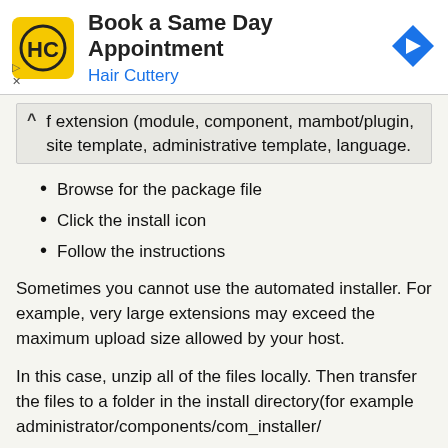[Figure (logo): Hair Cuttery advertisement banner with yellow logo, 'Book a Same Day Appointment' heading, 'Hair Cuttery' subtitle in blue, and blue diamond navigation arrow icon]
f extension (module, component, mambot/plugin, site template, administrative template, language.
Browse for the package file
Click the install icon
Follow the instructions
Sometimes you cannot use the automated installer. For example, very large extensions may exceed the maximum upload size allowed by your host.
In this case, unzip all of the files locally. Then transfer the files to a folder in the install directory(for example administrator/components/com_installer/